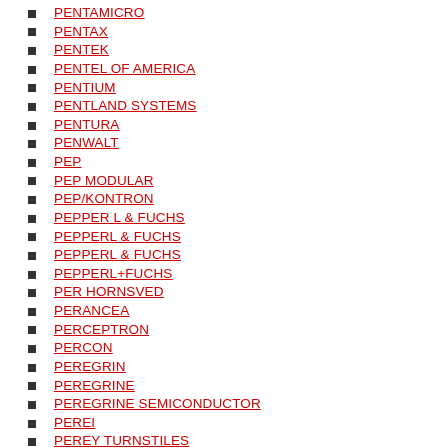PENTAMICRO
PENTAX
PENTEK
PENTEL OF AMERICA
PENTIUM
PENTLAND SYSTEMS
PENTURA
PENWALT
PEP
PEP MODULAR
PEP/KONTRON
PEPPER L & FUCHS
PEPPERL & FUCHS
PEPPERL & FUCHS
PEPPERL+FUCHS
PER HORNSVED
PERANCEA
PERCEPTRON
PERCON
PEREGRIN
PEREGRINE
PEREGRINE SEMICONDUCTOR
PEREI
PEREY TURNSTILES
PEREZ & VITENU